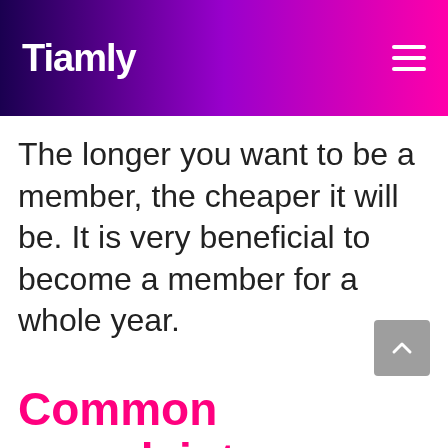Tiamly
The longer you want to be a member, the cheaper it will be. It is very beneficial to become a member for a whole year.
Common complaints